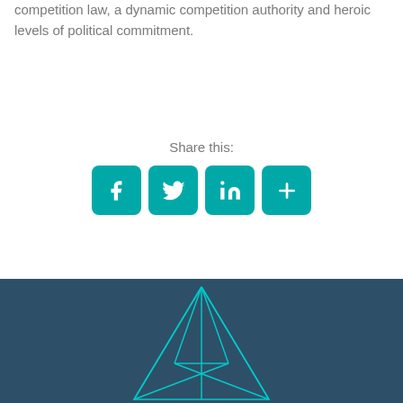competition law, a dynamic competition authority and heroic levels of political commitment.
Share this:
[Figure (infographic): Social sharing buttons: Facebook, Twitter, LinkedIn, and a plus/more button, all in teal rounded square icons]
[Figure (logo): Teal geometric diamond/paper-plane logo outline on dark blue background]